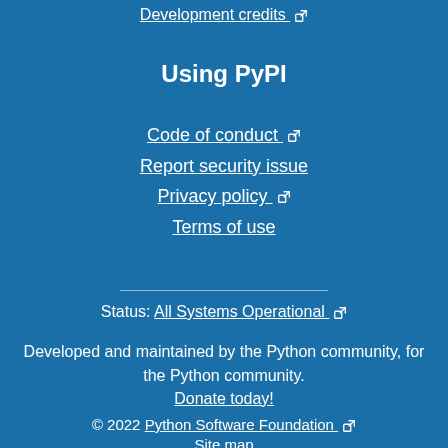Development credits ↗
Using PyPI
Code of conduct ↗
Report security issue
Privacy policy ↗
Terms of use
Status: All Systems Operational ↗
Developed and maintained by the Python community, for the Python community.
Donate today!
© 2022 Python Software Foundation ↗
Site map